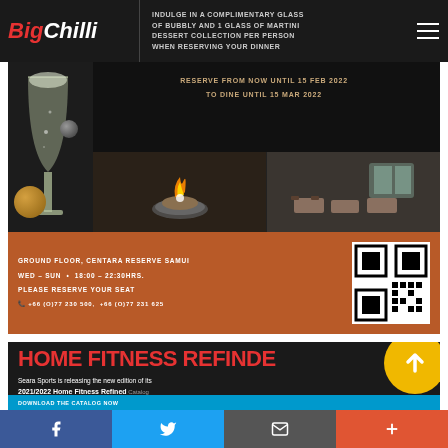BigChilli — navigation bar with logo and hamburger menu
[Figure (photo): Restaurant promotion banner for Centara Reserve Samui: champagne glass with ornament balls, flaming dish, restaurant interior, orange info bar with contact details and QR code. Text: INDULGE IN A COMPLIMENTARY GLASS OF BUBBLY AND 1 GLASS OF MARTINI DESSERT COLLECTION PER PERSON WHEN RESERVING YOUR DINNER. RESERVE FROM NOW UNTIL 15 FEB 2022 TO DINE UNTIL 15 MAR 2022. GROUND FLOOR, CENTARA RESERVE SAMUI. WED–SUN 18:00–22:30HRS. PLEASE RESERVE YOUR SEAT. +66 (O)77 230 500, +66 (O)77 231 625]
[Figure (photo): Home Fitness Redefined banner for Seara Sports. Text: HOME FITNESS REFINDE[D]. Seara Sports is releasing the new edition of its 2021/2022 Home Fitness Refined Catalog.]
Facebook | Twitter | Email | Share (+)